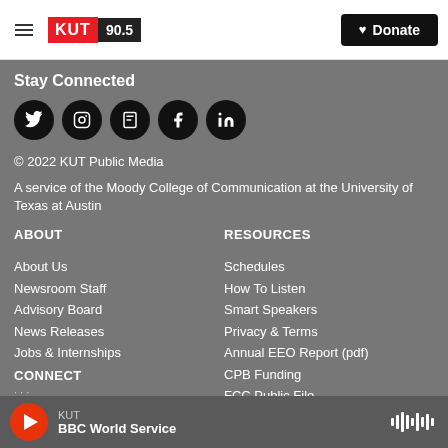KUT 90.5 — Donate
Stay Connected
[Figure (infographic): Row of five social media icons (Twitter, Instagram, Flipboard, Facebook, LinkedIn) as white icons on black circles]
© 2022 KUT Public Media
A service of the Moody College of Communication at the University of Texas at Austin
ABOUT
About Us
Newsroom Staff
Advisory Board
News Releases
Jobs & Internships
CONNECT
RESOURCES
Schedules
How To Listen
Smart Speakers
Privacy & Terms
Annual EEO Report (pdf)
CPB Funding
FCC Public File
SUPPORT US
KUT — BBC World Service